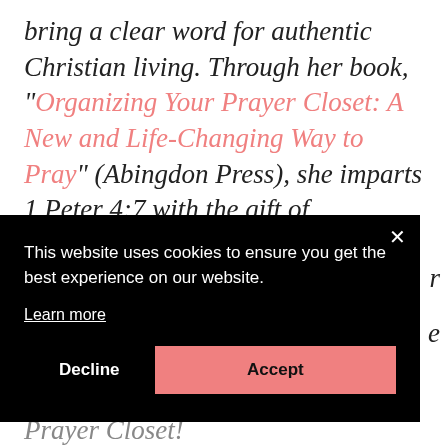bring a clear word for authentic Christian living. Through her book, "Organizing Your Prayer Closet: A New and Life-Changing Way to Pray" (Abingdon Press), she imparts 1 Peter 4:7 with the gift of structured prayer
[Figure (screenshot): Cookie consent banner overlay on black background with close X button, message 'This website uses cookies to ensure you get the best experience on our website.', a 'Learn more' link, and two buttons: 'Decline' and 'Accept' (salmon/pink colored)]
Prayer Closet!